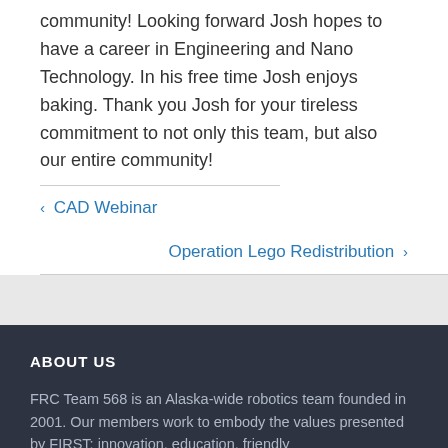community! Looking forward Josh hopes to have a career in Engineering and Nano Technology. In his free time Josh enjoys baking. Thank you Josh for your tireless commitment to not only this team, but also our entire community!
< CAD Webinar
Operation Lego Redistribution >
ABOUT US
FRC Team 568 is an Alaska-wide robotics team founded in 2001. Our members work to embody the values presented by FIRST: innovation, education, friendly